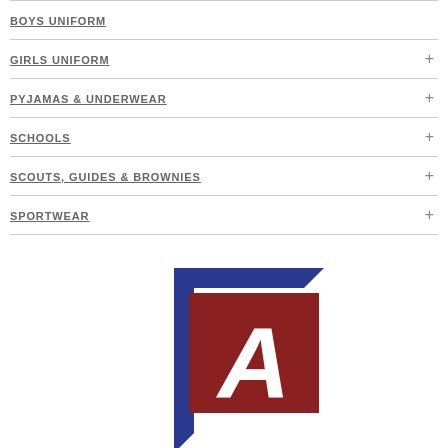BOYS UNIFORM
GIRLS UNIFORM
PYJAMAS & UNDERWEAR
SCHOOLS
SCOUTS, GUIDES & BROWNIES
SPORTWEAR
[Figure (logo): Retailer logo: blue square bracket shape with red square containing a white stylized letter A]